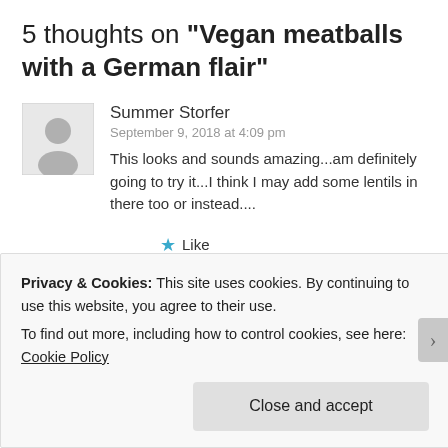5 thoughts on "Vegan meatballs with a German flair"
Summer Storfer
September 9, 2018 at 4:09 pm
This looks and sounds amazing...am definitely going to try it...I think I may add some lentils in there too or instead....
★ Like
Reply
Privacy & Cookies: This site uses cookies. By continuing to use this website, you agree to their use.
To find out more, including how to control cookies, see here: Cookie Policy
Close and accept